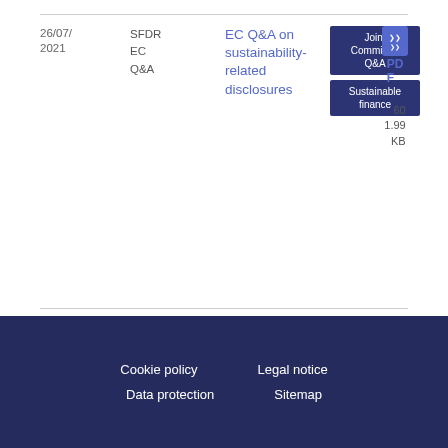26/07/2021
SFDR EC Q&A
EC Q&A on sustainability-related disclosures
Joint Committee Q&A
Sustainable finance
PDF 601.99 KB
Cookie policy | Legal notice | Data protection | Sitemap